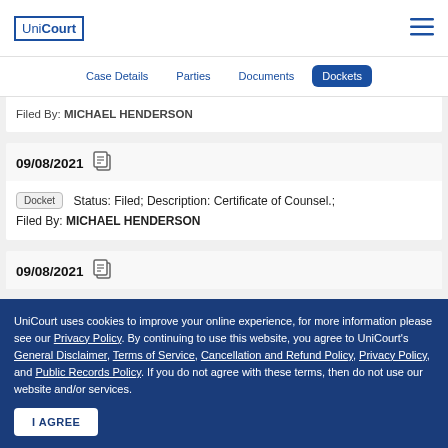UniCourt
Case Details | Parties | Documents | Dockets
Filed By: MICHAEL HENDERSON
09/08/2021
Docket  Status: Filed; Description: Certificate of Counsel.; Filed By: MICHAEL HENDERSON
09/08/2021
UniCourt uses cookies to improve your online experience, for more information please see our Privacy Policy. By continuing to use this website, you agree to UniCourt's General Disclaimer, Terms of Service, Cancellation and Refund Policy, Privacy Policy, and Public Records Policy. If you do not agree with these terms, then do not use our website and/or services.
I AGREE